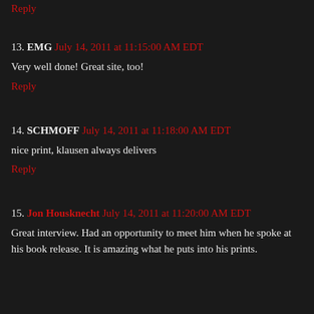Reply
13. EMG July 14, 2011 at 11:15:00 AM EDT
Very well done! Great site, too!
Reply
14. SCHMOFF July 14, 2011 at 11:18:00 AM EDT
nice print, klausen always delivers
Reply
15. Jon Housknecht July 14, 2011 at 11:20:00 AM EDT
Great interview. Had an opportunity to meet him when he spoke at his book release. It is amazing what he puts into his prints.